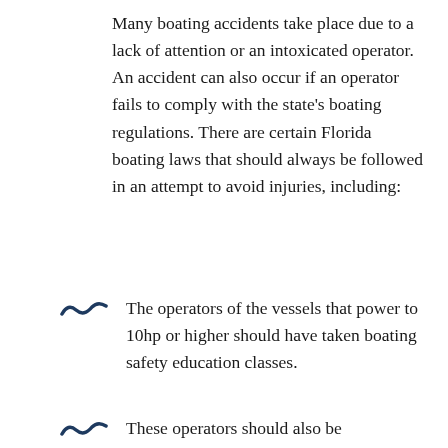Many boating accidents take place due to a lack of attention or an intoxicated operator. An accident can also occur if an operator fails to comply with the state's boating regulations. There are certain Florida boating laws that should always be followed in an attempt to avoid injuries, including:
The operators of the vessels that power to 10hp or higher should have taken boating safety education classes.
These operators should also be